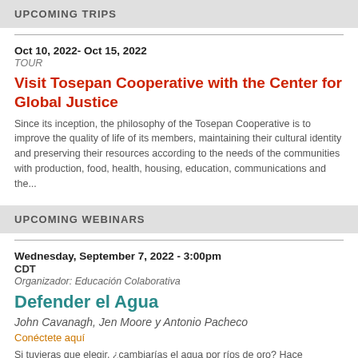UPCOMING TRIPS
Oct 10, 2022- Oct 15, 2022
TOUR
Visit Tosepan Cooperative with the Center for Global Justice
Since its inception, the philosophy of the Tosepan Cooperative is to improve the quality of life of its members, maintaining their cultural identity and preserving their resources according to the needs of the communities with production, food, health, housing, education, communications and the...
UPCOMING WEBINARS
Wednesday, September 7, 2022 - 3:00pm
CDT
Organizador: Educación Colaborativa
Defender el Agua
John Cavanagh, Jen Moore y Antonio Pacheco
Conéctete aquí
Si tuvieras que elegir, ¿cambiarías el agua por ríos de oro? Hace